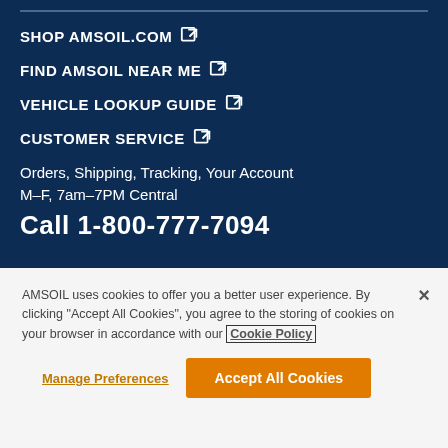SHOP AMSOIL.COM ↗
FIND AMSOIL NEAR ME ↗
VEHICLE LOOKUP GUIDE ↗
CUSTOMER SERVICE ↗
Orders, Shipping, Tracking, Your Account
M–F, 7am–7PM Central
Call 1-800-777-7094
AMSOIL uses cookies to offer you a better user experience. By clicking "Accept All Cookies", you agree to the storing of cookies on your browser in accordance with our Cookie Policy
Manage Preferences
Accept All Cookies